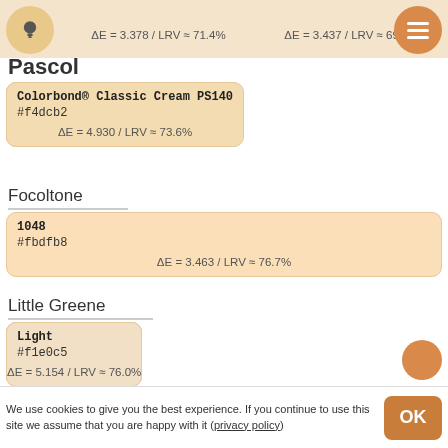ΔE = 3.378 / LRV ≈ 71.4%   ΔE = 3.437 / LRV ≈ 69.5%
Pascol
| Color 1 | Color 2 |
| --- | --- |
| Coffee and Cream PL150
#f7dfc0
ΔE = 3.411 / LRV ≈ 76.4% | Colorbond® Classic Cream PS140
#f4dcb2
ΔE = 4.930 / LRV ≈ 73.6% |
Focoltone
| Color |
| --- |
| 1048
#fbdfb8
ΔE = 3.463 / LRV ≈ 76.7% |
Little Greene
| Color 1 | Color 2 |
| --- | --- |
| Stone-Pale-Warm
#f3d5af
ΔE = 3.643 / LRV ≈ 69.7% | Light
#f1e0c5
ΔE = 5.154 / LRV ≈ 76.0% |
Homebase
We use cookies to give you the best experience. If you continue to use this site we assume that you are happy with it (privacy policy)